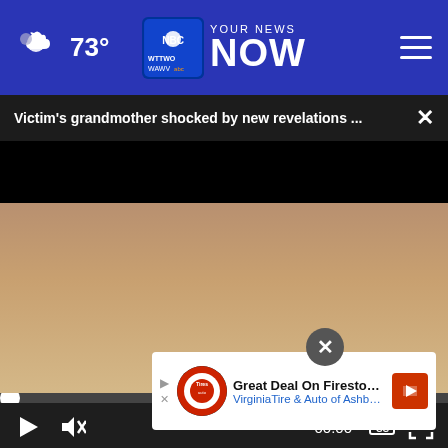73° — WTTWO / WAWV NBC2 YOUR NEWS NOW
Victim's grandmother shocked by new revelations ...
[Figure (screenshot): Black video player area with progress bar at top and playback controls (play button, mute, timestamp 00:00, captions, fullscreen) at bottom]
[Figure (photo): Thumbnail image of a person's face/shoulders visible below the video player]
Great Deal On Firestone Tires  VirginiaTire & Auto of Ashburn Fa.